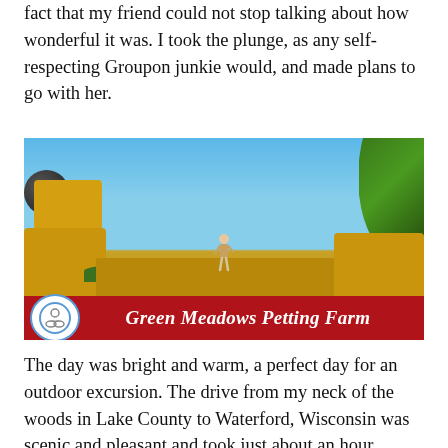fact that my friend could not stop talking about how wonderful it was. I took the plunge, as any self-respecting Groupon junkie would, and made plans to go with her.
[Figure (photo): A child standing on hay bales at Green Meadows Petting Farm, with a red banner and logo at the bottom of the image.]
The day was bright and warm, a perfect day for an outdoor excursion. The drive from my neck of the woods in Lake County to Waterford, Wisconsin was scenic and pleasant and took just about an hour. When we arrived at our destination, I still could not